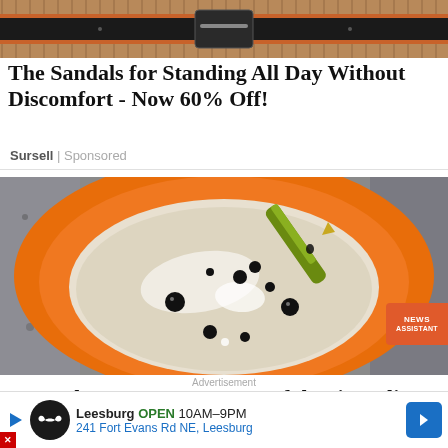[Figure (photo): Top cropped image of sandals/leather straps with dark stripe pattern on brown background]
The Sandals for Standing All Day Without Discomfort - Now 60% Off!
Sursell | Sponsored
[Figure (photo): Orange bowl or cup viewed from above with a green dropper/pipette dropping black liquid drops into a cream/white liquid inside]
Advertisement
Banned For 84 Hours, Powerful Pain Reliever Legaliz...
Leesburg OPEN 10AM–9PM 241 Fort Evans Rd NE, Leesburg